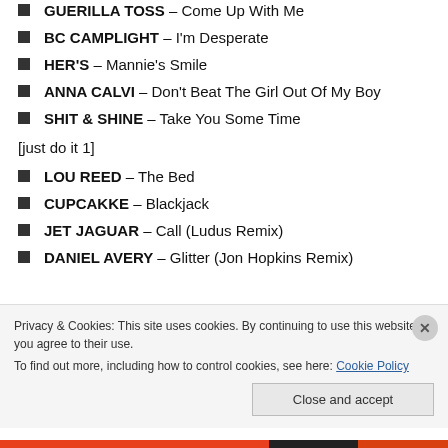GUERILLA TOSS – Come Up With Me
BC CAMPLIGHT – I'm Desperate
HER'S – Mannie's Smile
ANNA CALVI – Don't Beat The Girl Out Of My Boy
SHIT & SHINE – Take You Some Time
[just do it 1]
LOU REED – The Bed
CUPCAKKE – Blackjack
JET JAGUAR – Call (Ludus Remix)
DANIEL AVERY – Glitter (Jon Hopkins Remix)
Privacy & Cookies: This site uses cookies. By continuing to use this website, you agree to their use. To find out more, including how to control cookies, see here: Cookie Policy
Close and accept